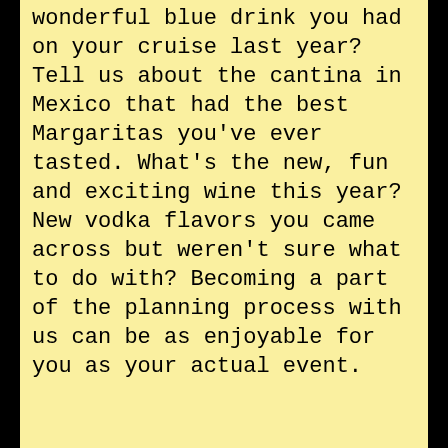wonderful blue drink you had on your cruise last year? Tell us about the cantina in Mexico that had the best Margaritas you've ever tasted. What's the new, fun and exciting wine this year? New vodka flavors you came across but weren't sure what to do with? Becoming a part of the planning process with us can be as enjoyable for you as your actual event.